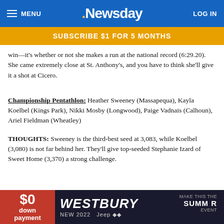Newsday — MENU | LOG IN
SUBSCRIBE $1 FOR 5 MONTHS
win—it's whether or not she makes a run at the national record (6:29.20). She came extremely close at St. Anthony's, and you have to think she'll give it a shot at Cicero.
Championship Pentathlon: Heather Sweeney (Massapequa), Kayla Koelbel (Kings Park), Nikki Mosby (Longwood), Paige Vadnais (Calhoun), Ariel Fieldman (Wheatley)
THOUGHTS: Sweeney is the third-best seed at 3,083, while Koelbel (3,080) is not far behind her. They'll give top-seeded Stephanie Izard of Sweet Home (3,370) a strong challenge.
Long Jump
Division I: Janai Francis (Copiague), Teana Mahlon (North Babylon), Tawand...
Division II: ...
[Figure (other): Westbury New 2022 Jeep advertisement overlay with $0 down payment]